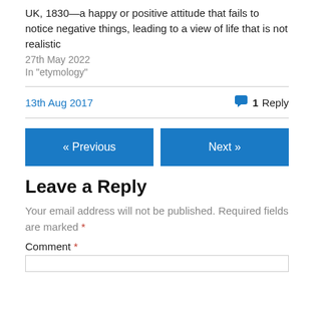UK, 1830—a happy or positive attitude that fails to notice negative things, leading to a view of life that is not realistic
27th May 2022
In "etymology"
13th Aug 2017
1 Reply
« Previous
Next »
Leave a Reply
Your email address will not be published. Required fields are marked *
Comment *